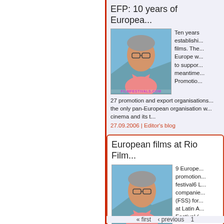EFP: 10 years of Europea...
[Figure (photo): Portrait photo of a person outdoors with watermark FILMFESTIVALS.COM]
Ten years... establishing... films. The... Europe w... to suppor... meantime... Promotio... 27 promotion and export organisations... the only pan-European organisation w... cinema and its t...
27.09.2006 | Editor's blog
European films at Rio Film...
[Figure (photo): Portrait photo of a person outdoors with watermark FILMFESTIVALS.COM]
9 Europe... promotion... festival6 L... companie... (FSS) for... at Latin A... Festival (... the supported films are Aleksandar Ma... Records (Czech Republic), Nils Tavern...
19.09.2006 | Editor's blog
« first   ‹ previous   1